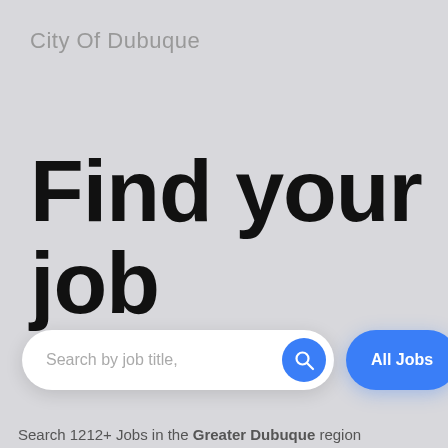City Of Dubuque
Find your job
[Figure (screenshot): Search bar with placeholder text 'Search by job title,' and a blue circular search icon button, plus a blue 'All Jobs' pill button]
Search 1212+ Jobs in the Greater Dubuque region